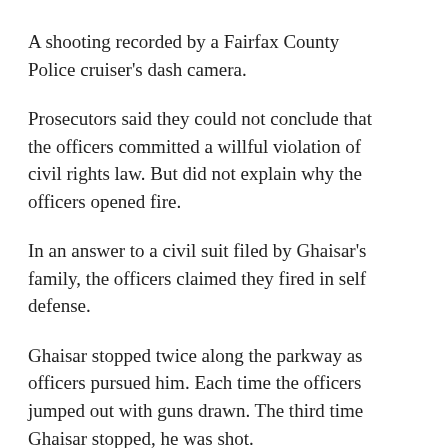A shooting recorded by a Fairfax County Police cruiser's dash camera.
Prosecutors said they could not conclude that the officers committed a willful violation of civil rights law. But did not explain why the officers opened fire.
In an answer to a civil suit filed by Ghaisar's family, the officers claimed they fired in self defense.
Ghaisar stopped twice along the parkway as officers pursued him. Each time the officers jumped out with guns drawn. The third time Ghaisar stopped, he was shot.
Records show he was unarmed.